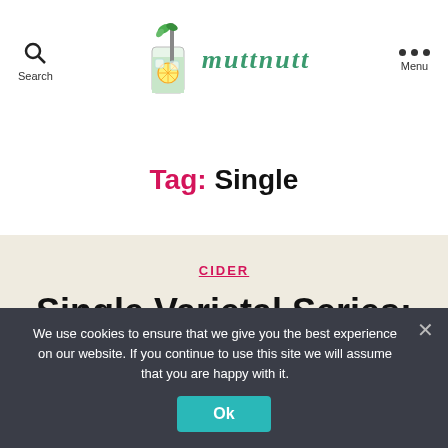Search | muttnutt | Menu
Tag: Single
CIDER
Single Varietal Series:
We use cookies to ensure that we give you the best experience on our website. If you continue to use this site we will assume that you are happy with it.